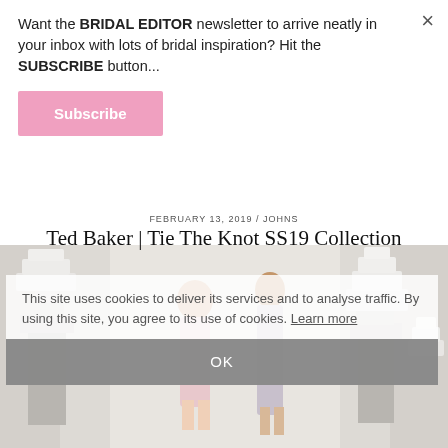Want the BRIDAL EDITOR newsletter to arrive neatly in your inbox with lots of bridal inspiration? Hit the SUBSCRIBE button...
Subscribe
×
FEBRUARY 13, 2019 / JOHNS
Ted Baker | Tie The Knot SS19 Collection
[Figure (photo): Two women in bridal/bridesmaid dresses standing beside white tiered wedding cakes on pedestals, in a light grey studio setting.]
This site uses cookies to deliver its services and to analyse traffic. By using this site, you agree to its use of cookies. Learn more
OK